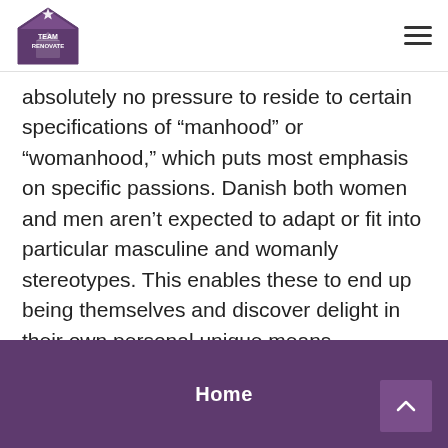Team Renovate [logo] [hamburger menu]
absolutely no pressure to reside to certain specifications of “manhood” or “womanhood,” which puts most emphasis on specific passions. Danish both women and men aren’t expected to adapt or fit into particular masculine and womanly stereotypes. This enables these to end up being themselves and discover delight in their own personal unique means, regardless of sex personality, partnership objectives, or sexual preference.
Home